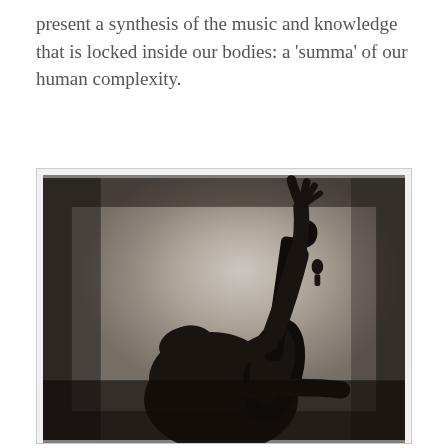present a synthesis of the music and knowledge that is locked inside our bodies: a 'summa' of our human complexity.
[Figure (photo): Black and white silhouette photograph of a musician playing a large string instrument (cello or double bass), dramatically lit from behind with a bright light source creating a halo effect. The figure is leaning back with one arm raised upward, the other holding the neck of the instrument.]